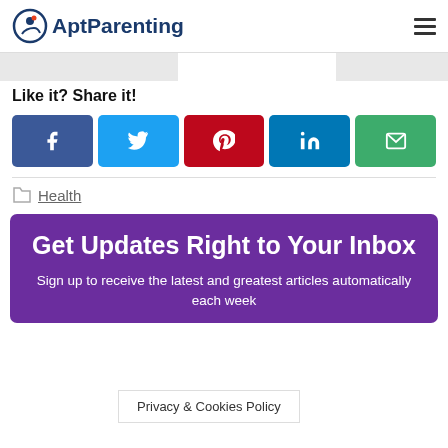AptParenting
Like it? Share it!
[Figure (infographic): Social share buttons: Facebook, Twitter, Pinterest, LinkedIn, Email]
Health
Get Updates Right to Your Inbox
Sign up to receive the latest and greatest articles automatically each week
Privacy & Cookies Policy